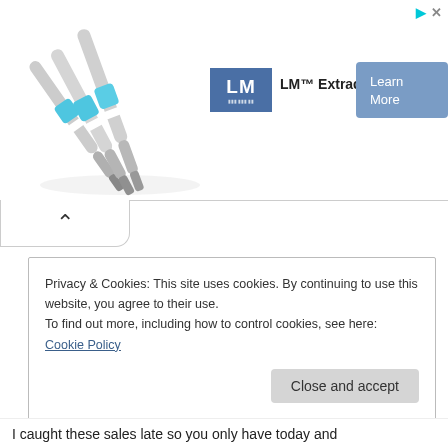[Figure (photo): Medical/dental blue and white extraction tools on white background]
LM™ Extraction
Learn More
Privacy & Cookies: This site uses cookies. By continuing to use this website, you agree to their use.
To find out more, including how to control cookies, see here: Cookie Policy
Close and accept
I caught these sales late so you only have today and